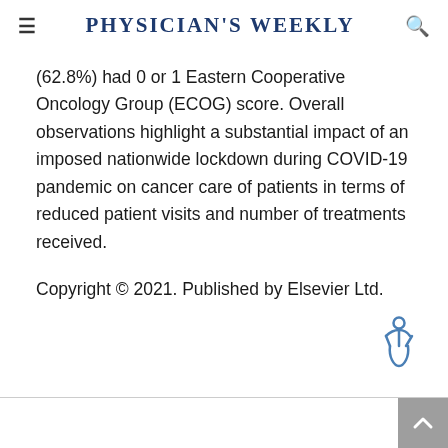Physician's Weekly
(62.8%) had 0 or 1 Eastern Cooperative Oncology Group (ECOG) score. Overall observations highlight a substantial impact of an imposed nationwide lockdown during COVID-19 pandemic on cancer care of patients in terms of reduced patient visits and number of treatments received.
Copyright © 2021. Published by Elsevier Ltd.